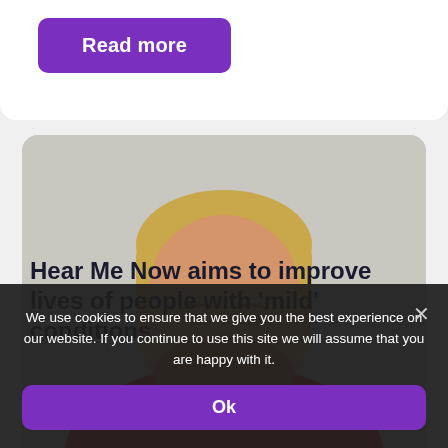Read more
[Figure (photo): Blonde man with red beard covering his mouth with his hand, looking downward, wearing a red shirt, against a light grey background]
Hear Me Now aims to improve lives of people with 'mild' conditions
We use cookies to ensure that we give you the best experience on our website. If you continue to use this site we will assume that you are happy with it.